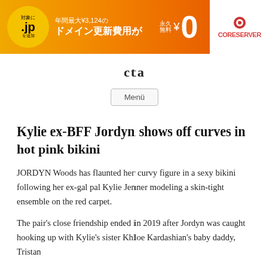[Figure (other): Japanese advertisement banner for CORESERVER domain service. Orange gradient background with Japanese text: 対象に .jp を追加, 年間最大¥3,124の ドメイン更新費用が, 永久無料 ¥0, and CORESERVER logo on white background.]
cta
Menü
Kylie ex-BFF Jordyn shows off curves in hot pink bikini
JORDYN Woods has flaunted her curvy figure in a sexy bikini following her ex-gal pal Kylie Jenner modeling a skin-tight ensemble on the red carpet.
The pair's close friendship ended in 2019 after Jordyn was caught hooking up with Kylie's sister Khloe Kardashian's baby daddy, Tristan